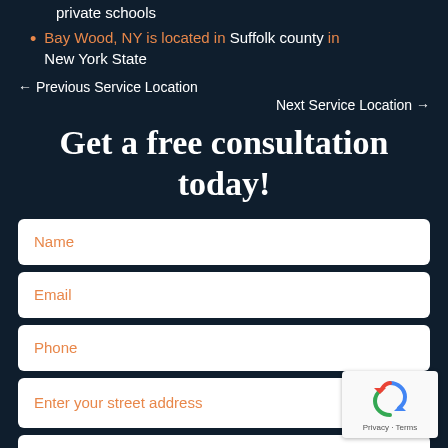private schools
Bay Wood, NY is located in Suffolk county in New York State
← Previous Service Location
Next Service Location →
Get a free consultation today!
Name
Email
Phone
Enter your street address
Your Message